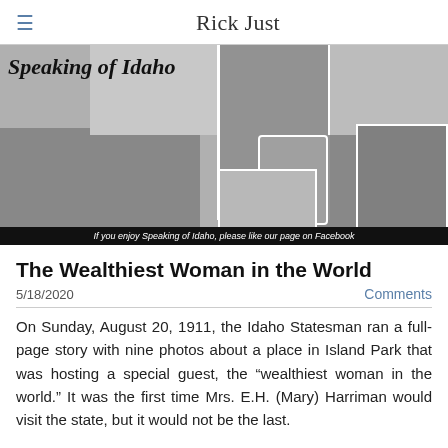Rick Just
[Figure (photo): Speaking of Idaho banner collage with historical black and white photographs including portraits, a bridge, a steamboat, and a building. Caption reads: If you enjoy Speaking of Idaho, please like our page on Facebook]
If you enjoy Speaking of Idaho, please like our page on Facebook
The Wealthiest Woman in the World
5/18/2020
Comments
On Sunday, August 20, 1911, the Idaho Statesman ran a full-page story with nine photos about a place in Island Park that was hosting a special guest, the “wealthiest woman in the world.” It was the first time Mrs. E.H. (Mary) Harriman would visit the state, but it would not be the last.